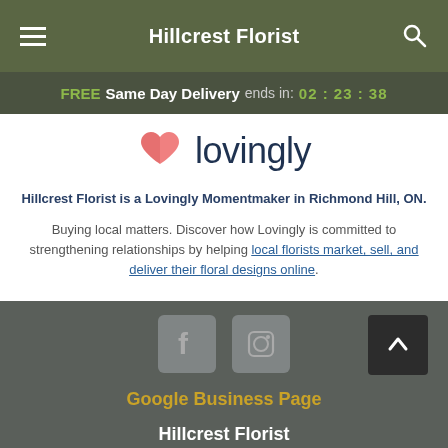Hillcrest Florist
FREE Same Day Delivery ends in: 02 : 23 : 38
[Figure (logo): Lovingly logo with pink heart icon and dark blue 'lovingly' wordmark]
Hillcrest Florist is a Lovingly Momentmaker in Richmond Hill, ON.
Buying local matters. Discover how Lovingly is committed to strengthening relationships by helping local florists market, sell, and deliver their floral designs online.
[Figure (other): Facebook and Instagram social media icons, plus scroll-to-top button]
Google Business Page
Hillcrest Florist
361 Gamville Rd, Unit 7B, Richmond Hill ON L4C 6E4